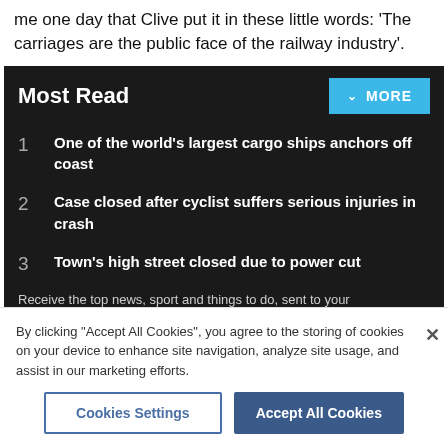me one day that Clive put it in these little words: 'The carriages are the public face of the railway industry'.
Most Read
1 One of the world's largest cargo ships anchors off coast
2 Case closed after cyclist suffers serious injuries in crash
3 Town's high street closed due to power cut
Receive the top news, sport and things to do, sent to your
By clicking "Accept All Cookies", you agree to the storing of cookies on your device to enhance site navigation, analyze site usage, and assist in our marketing efforts.